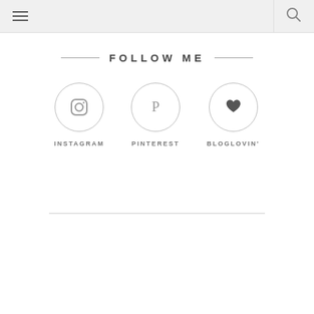Navigation header with menu and search icons
FOLLOW ME
[Figure (infographic): Three social media icons in circles: Instagram (camera icon), Pinterest (P icon), Bloglovin (heart icon), each labeled below with INSTAGRAM, PINTEREST, BLOGLOVIN']